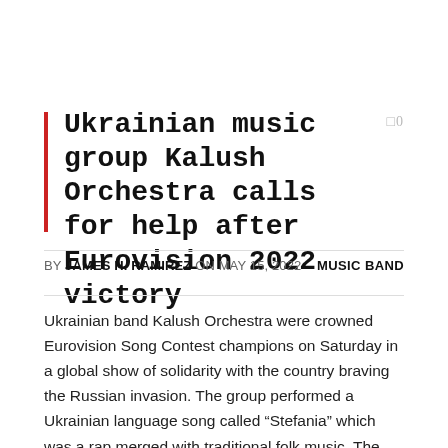Ukrainian music group Kalush Orchestra calls for help after Eurovision 2022 victory
BY JAMES H. RAMIREZ ON MAY 15, 2022   MUSIC BAND
Ukrainian band Kalush Orchestra were crowned Eurovision Song Contest champions on Saturday in a global show of solidarity with the country braving the Russian invasion. The group performed a Ukrainian language song called “Stefania” which was a rap merged with traditional folk music. The song was a tribute to the mother of the group’s founder and leader Oleh Psiuk, but following the military assault on the Kremlin, it became